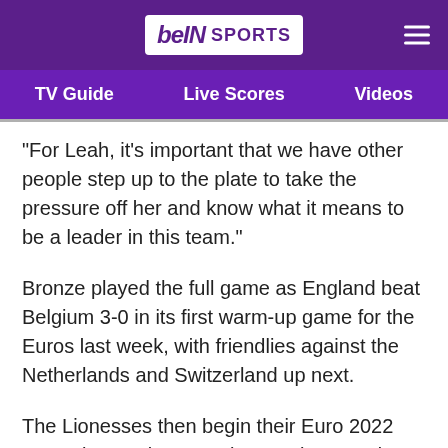[Figure (logo): beIN SPORTS logo in white box on purple background with hamburger menu icon]
TV Guide   Live Scores   Videos
"For Leah, it's important that we have other people step up to the plate to take the pressure off her and know what it means to be a leader in this team."
Bronze played the full game as England beat Belgium 3-0 in its first warm-up game for the Euros last week, with friendlies against the Netherlands and Switzerland up next.
The Lionesses then begin their Euro 2022 campaign against Austria on July 6 rated among the favourites to go all the way.